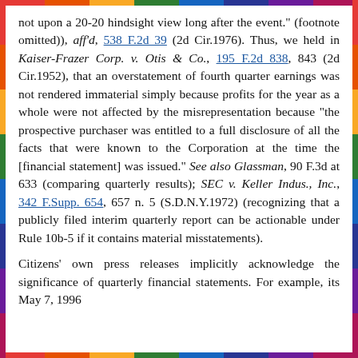not upon a 20-20 hindsight view long after the event." (footnote omitted)), aff'd, 538 F.2d 39 (2d Cir.1976). Thus, we held in Kaiser-Frazer Corp. v. Otis & Co., 195 F.2d 838, 843 (2d Cir.1952), that an overstatement of fourth quarter earnings was not rendered immaterial simply because profits for the year as a whole were not affected by the misrepresentation because "the prospective purchaser was entitled to a full disclosure of all the facts that were known to the Corporation at the time the [financial statement] was issued." See also Glassman, 90 F.3d at 633 (comparing quarterly results); SEC v. Keller Indus., Inc., 342 F.Supp. 654, 657 n. 5 (S.D.N.Y.1972) (recognizing that a publicly filed interim quarterly report can be actionable under Rule 10b-5 if it contains material misstatements).
Citizens' own press releases implicitly acknowledge the significance of quarterly financial statements. For example, its May 7, 1996